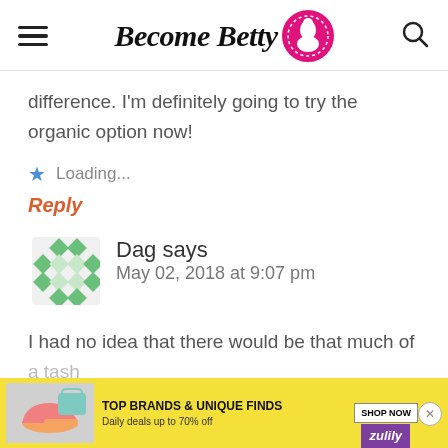Become Betty
difference. I'm definitely going to try the organic option now!
Loading...
Reply
Dag says
May 02, 2018 at 9:07 pm
I had no idea that there would be that much of a tas... organic... ry
[Figure (other): Advertisement banner: TOP BRANDS & UNIQUE FINDS, Daily deals up to 70% off, Zulily brand ad with shop now button]